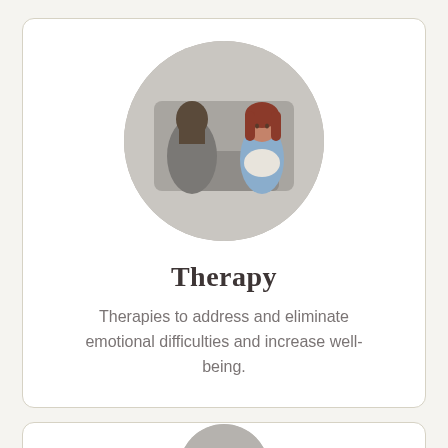[Figure (photo): Circular cropped photo of a therapy session showing two people — one with their back turned (therapist) and a young girl hugging a pillow facing forward, in a neutral grey room setting.]
Therapy
Therapies to address and eliminate emotional difficulties and increase well-being.
[Figure (photo): Partially visible circular photo at the bottom of the page, cut off — appears to show another therapy or wellness related image.]